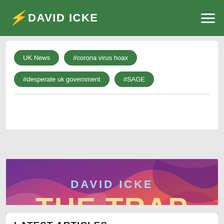DAVID ICKE
UK News
#corona virus hoax
#desperate uk government
#SAGE
[Figure (illustration): David Icke 'The Trap' promotional banner with colorful abstract wavy background in purple, pink, orange and red. Text reads: DAVID ICKE THE TRAP WHAT IT IS, HOW IT WORKS, AND HOW WE ESCAPE ITS ILLUSIONS]
LATEST ARTICLES